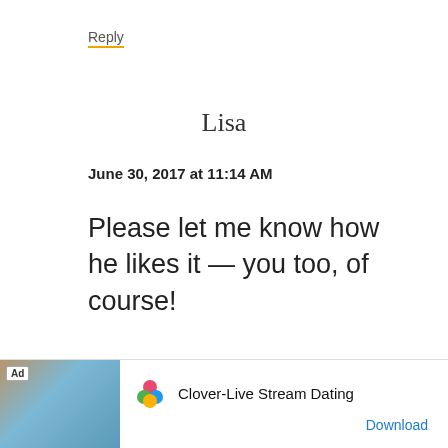Reply
Lisa
June 30, 2017 at 11:14 AM
Please let me know how he likes it — you too, of course!
Reply
[Figure (other): Advertisement banner for Clover-Live Stream Dating app showing a woman at a beach, app logo with colorful flower/heart design, and a Download button]